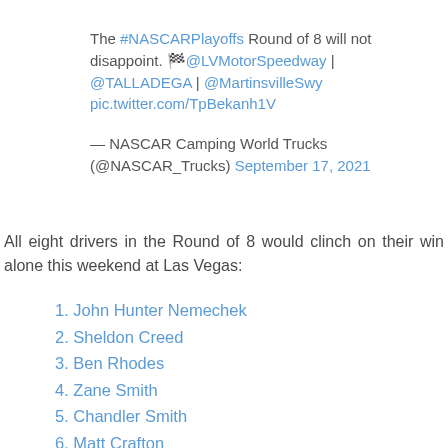The #NASCARPlayoffs Round of 8 will not disappoint. 🏁@LVMotorSpeedway | @TALLADEGA | @MartinsvilleSwy pic.twitter.com/TpBekanh1V
— NASCAR Camping World Trucks (@NASCAR_Trucks) September 17, 2021
All eight drivers in the Round of 8 would clinch on their win alone this weekend at Las Vegas:
1. John Hunter Nemechek
2. Sheldon Creed
3. Ben Rhodes
4. Zane Smith
5. Chandler Smith
6. Matt Crafton